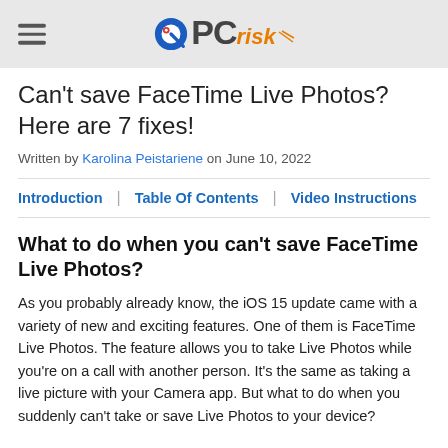PCrisk
Can't save FaceTime Live Photos? Here are 7 fixes!
Written by Karolina Peistariene on June 10, 2022
Introduction | Table Of Contents | Video Instructions
What to do when you can't save FaceTime Live Photos?
As you probably already know, the iOS 15 update came with a variety of new and exciting features. One of them is FaceTime Live Photos. The feature allows you to take Live Photos while you're on a call with another person. It's the same as taking a live picture with your Camera app. But what to do when you suddenly can't take or save Live Photos to your device?